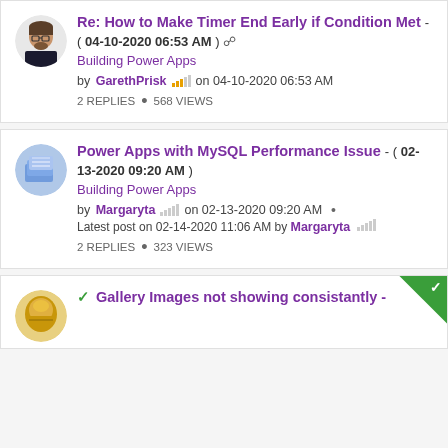Re: How to Make Timer End Early if Condition Met - ( 04-10-2020 06:53 AM )
Building Power Apps
by GarethPrisk on 04-10-2020 06:53 AM
2 REPLIES • 568 VIEWS
Power Apps with MySQL Performance Issue - ( 02-13-2020 09:20 AM )
Building Power Apps
by Margaryta on 02-13-2020 09:20 AM • Latest post on 02-14-2020 11:06 AM by Margaryta
2 REPLIES • 323 VIEWS
Gallery Images not showing consistantly -